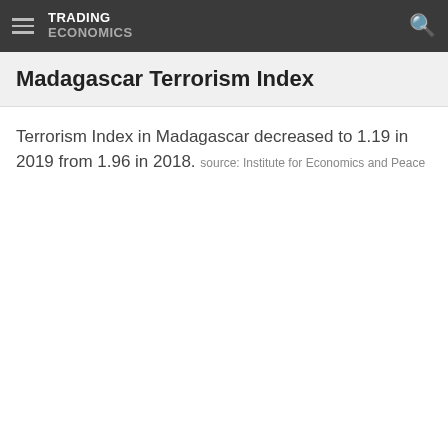TRADING ECONOMICS
Madagascar Terrorism Index
Terrorism Index in Madagascar decreased to 1.19 in 2019 from 1.96 in 2018. source: Institute for Economics and Peace